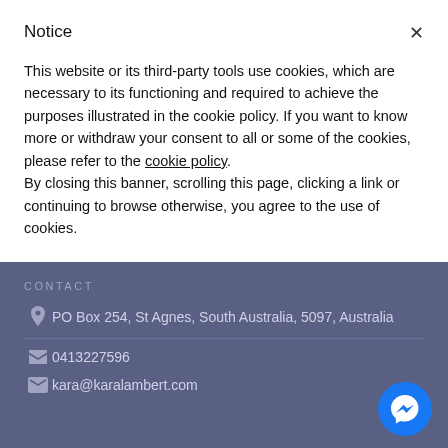Notice
This website or its third-party tools use cookies, which are necessary to its functioning and required to achieve the purposes illustrated in the cookie policy. If you want to know more or withdraw your consent to all or some of the cookies, please refer to the cookie policy.
By closing this banner, scrolling this page, clicking a link or continuing to browse otherwise, you agree to the use of cookies.
CONTACT
PO Box 254, St Agnes, South Australia, 5097, Australia
0413227596
kara@karalambert.com